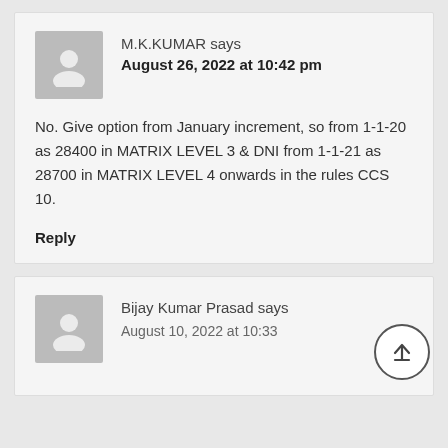M.K.KUMAR says
August 26, 2022 at 10:42 pm
No. Give option from January increment, so from 1-1-20 as 28400 in MATRIX LEVEL 3 & DNI from 1-1-21 as 28700 in MATRIX LEVEL 4 onwards in the rules CCS 10.
Reply
Bijay Kumar Prasad says
August 10, 2022 at 10:33